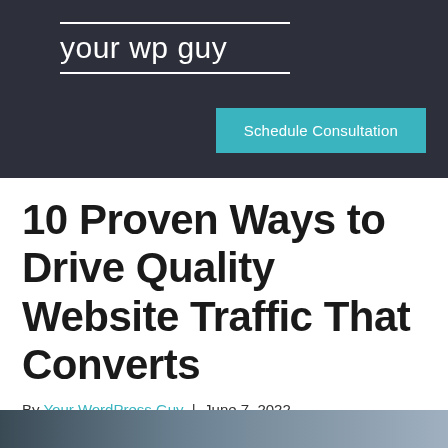your wp guy
Schedule Consultation
10 Proven Ways to Drive Quality Website Traffic That Converts
By Your WordPress Guy | June 7, 2022
[Figure (photo): Partial photo visible at bottom of page, appears to be a person or people]